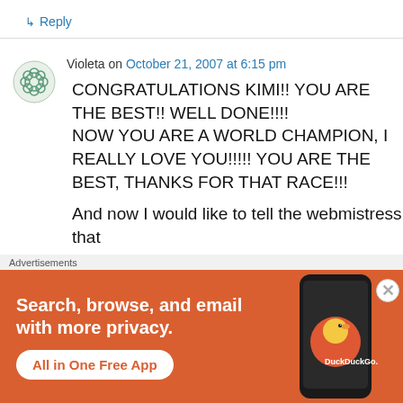↳ Reply
Violeta on October 21, 2007 at 6:15 pm
CONGRATULATIONS KIMI!! YOU ARE THE BEST!! WELL DONE!!!! NOW YOU ARE A WORLD CHAMPION, I REALLY LOVE YOU!!!!! YOU ARE THE BEST, THANKS FOR THAT RACE!!!
And now I would like to tell the webmistress that I've aded your link to my site for Kimi Räikkönen
Advertisements
[Figure (other): DuckDuckGo advertisement banner: Search, browse, and email with more privacy. All in One Free App. Shows a phone with DuckDuckGo logo.]